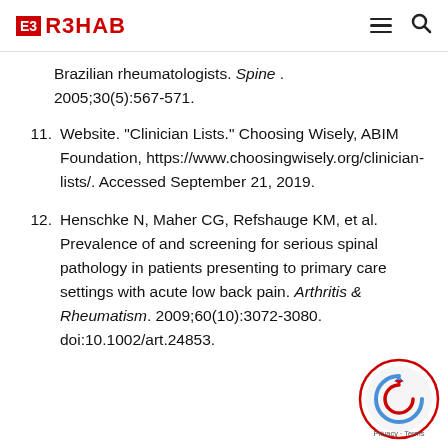E3 R3HAB
Brazilian rheumatologists. Spine . 2005;30(5):567-571.
11. Website. “Clinician Lists.” Choosing Wisely, ABIM Foundation, https://www.choosingwisely.org/clinician-lists/. Accessed September 21, 2019.
12. Henschke N, Maher CG, Refshauge KM, et al. Prevalence of and screening for serious spinal pathology in patients presenting to primary care settings with acute low back pain. Arthritis & Rheumatism. 2009;60(10):3072-3080. doi:10.1002/art.24853.